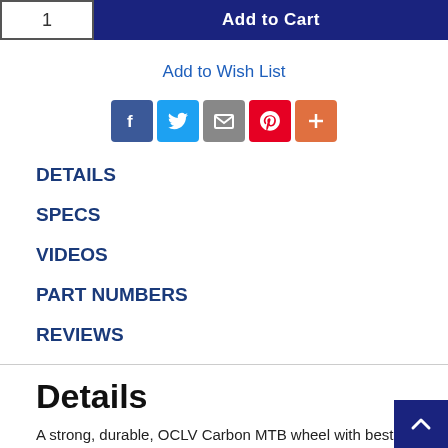[Figure (screenshot): Add to Cart button with quantity box showing '1' on the left and a dark navy 'Add to Cart' button on the right]
Add to Wish List
[Figure (infographic): Social sharing icons: Facebook (blue), Twitter (light blue), Email (gray), Pinterest (red), More/Plus (orange)]
DETAILS
SPECS
VIDEOS
PART NUMBERS
REVIEWS
Details
A strong, durable, OCLV Carbon MTB wheel with bestr...